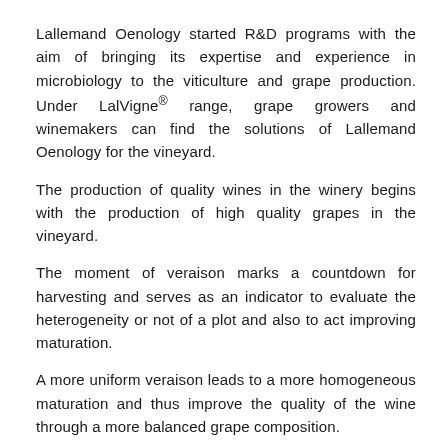Lallemand Oenology started R&D programs with the aim of bringing its expertise and experience in microbiology to the viticulture and grape production. Under LalVigne® range, grape growers and winemakers can find the solutions of Lallemand Oenology for the vineyard.
The production of quality wines in the winery begins with the production of high quality grapes in the vineyard.
The moment of veraison marks a countdown for harvesting and serves as an indicator to evaluate the heterogeneity or not of a plot and also to act improving maturation.
A more uniform veraison leads to a more homogeneous maturation and thus improve the quality of the wine through a more balanced grape composition.
This can be reached through the patented technology (Lallemand Inc.), based on the foliar spray at veraison of 100% natural, inactivated wine yeast, Saccharomyces cerevisiae that impact the production of positive secondary metabolites in grapes, such as polyphenols, terpenes, and other aromatic precursors. LalVigne MATURE™ helps to achive phenolic maturity and balance in your grapes easier. LalVigne AROMA™ increases the aroma precursors in